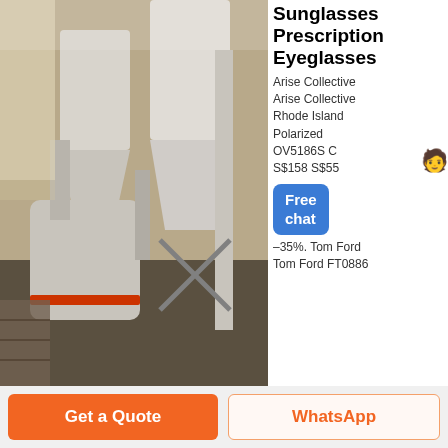[Figure (photo): Industrial machinery / grinding mill equipment inside a factory, large white hoppers and pipes visible]
Sunglasses
Prescription Eyeglasses
Arise Collective
Arise Collective
Rhode Island
Polarized
OV5186S C
S$158 S$55
–35%. Tom Ford
Tom Ford FT0886
[Figure (screenshot): Free chat button overlay — blue rounded rectangle with text 'Free chat' and a customer service representative figure]
SERENA–02 45E S$483 S$316. –31%. Ray–Ban® Ray–Ban RB2140F Original Wayfarer Asian Fit 901/64 S$233.45 S$162. Montana Eyewear Montana Eyewear C1
Get Price
[Figure (photo): Industrial factory interior showing pipes, beams and overhead structure]
Maui Jim 429
Product Overview
Get a Quote
WhatsApp